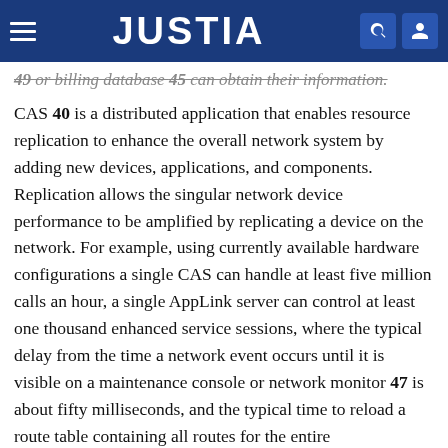JUSTIA
49 or billing database 45 can obtain their information.
CAS 40 is a distributed application that enables resource replication to enhance the overall network system by adding new devices, applications, and components. Replication allows the singular network device performance to be amplified by replicating a device on the network. For example, using currently available hardware configurations a single CAS can handle at least five million calls an hour, a single AppLink server can control at least one thousand enhanced service sessions, where the typical delay from the time a network event occurs until it is visible on a maintenance console or network monitor 47 is about fifty milliseconds, and the typical time to reload a route table containing all routes for the entire communication system while CAS 40 is running at a high load stress is about three seconds.